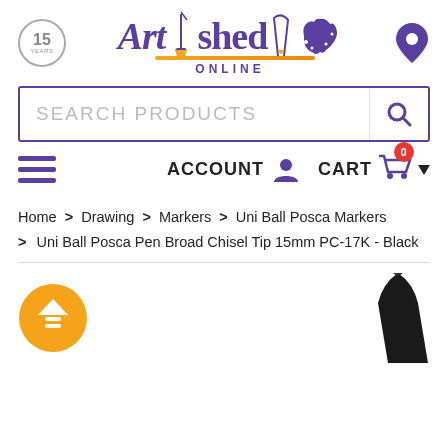[Figure (logo): Art Shed Online logo with paintbrush, Australia map icon, and location pin icon, plus 15 years badge]
[Figure (screenshot): Search bar with text SEARCH PRODUCTS and magnifying glass icon]
[Figure (screenshot): Navigation bar with hamburger menu, ACCOUNT with person icon, CART with shopping cart and 0 badge]
Home > Drawing > Markers > Uni Ball Posca Markers > Uni Ball Posca Pen Broad Chisel Tip 15mm PC-17K - Black
[Figure (illustration): Orange circle button with white up arrow and lines (scroll to top), and partial product image of black marker]